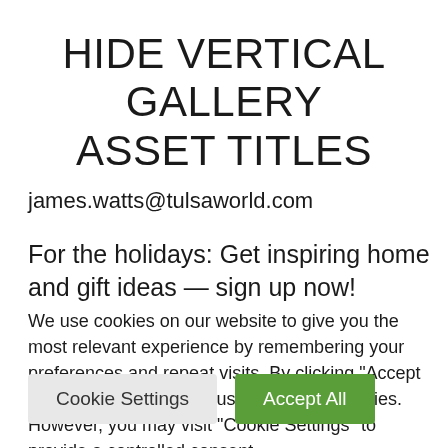HIDE VERTICAL GALLERY ASSET TITLES
james.watts@tulsaworld.com
For the holidays: Get inspiring home and gift ideas — sign up now!
We use cookies on our website to give you the most relevant experience by remembering your preferences and repeat visits. By clicking "Accept All", you consent to the use of ALL the cookies. However, you may visit "Cookie Settings" to provide a controlled consent.